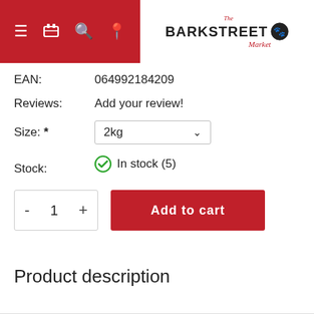The Barkstreet Market - navigation bar with hamburger menu, cart, search, location icons
EAN: 064992184209
Reviews: Add your review!
Size: * 2kg
Stock: In stock (5)
- 1 +   Add to cart
Product description